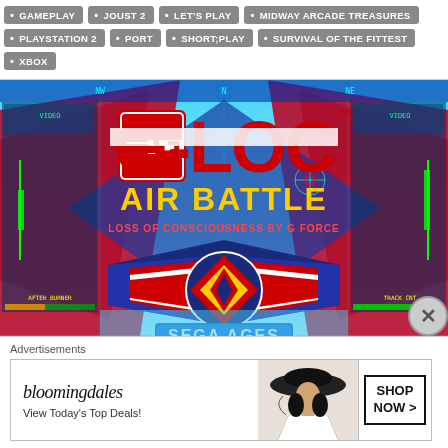GAMEPLAY
JOUST 2
LET'S PLAY
MIDWAY ARCADE TREASURES
PLAYSTATION 2
PORT
SHORT;PLAY
SURVIVAL OF THE FITTEST
XBOX
[Figure (screenshot): G-LOC Air Battle – Sega Ages game title screen showing red and blue cockpit HUD overlay with G-LOC logo in red/white, 'AIR BATTLE' in yellow, subtitle 'LOSS OF CONSCIOUSNESS BY G FORCE', winged shield emblem, and 'SEGA AGES' banner at the bottom]
Advertisements
[Figure (other): Bloomingdale's advertisement banner: 'bloomingdales / View Today's Top Deals!' with woman in hat photo and 'SHOP NOW >' button]